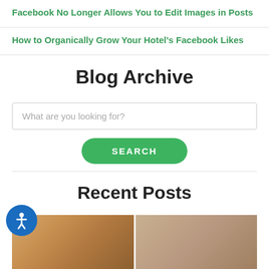Facebook No Longer Allows You to Edit Images in Posts
How to Organically Grow Your Hotel's Facebook Likes
Blog Archive
What are you looking for?
SEARCH
Recent Posts
[Figure (photo): Two women in an argument, one pointing at the other in an office setting]